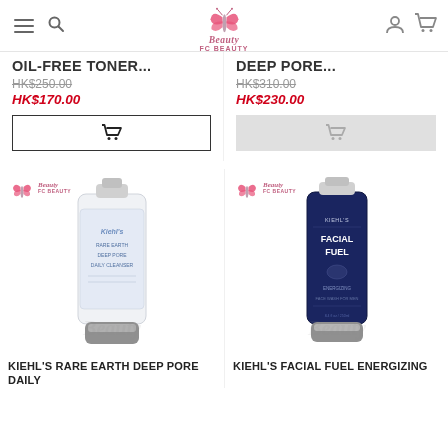Beauty FC Beauty — navigation header with hamburger, search, logo, user, cart icons
OIL-FREE TONER...
HK$250.00 (strikethrough) HK$170.00
[Figure (screenshot): Add to cart button (dark border, cart icon)]
DEEP PORE...
HK$310.00 (strikethrough) HK$230.00
[Figure (screenshot): Add to cart button (greyed out, disabled)]
[Figure (photo): Kiehl's Rare Earth Deep Pore Daily Cleanser product image — white tube with silver cap, Beauty FC Beauty watermark]
KIEHL'S RARE EARTH DEEP PORE DAILY
[Figure (photo): Kiehl's Facial Fuel Energizing cleanser product image — dark navy tube, Beauty FC Beauty watermark]
KIEHL'S FACIAL FUEL ENERGIZING